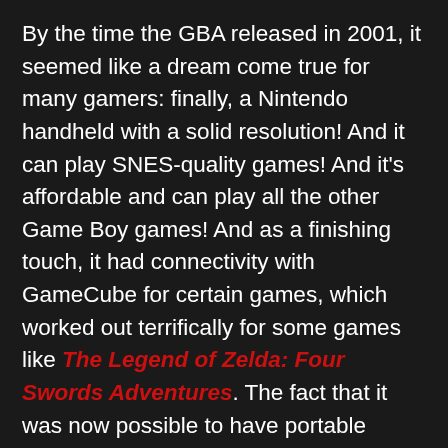By the time the GBA released in 2001, it seemed like a dream come true for many gamers: finally, a Nintendo handheld with a solid resolution! And it can play SNES-quality games! And it's affordable and can play all the other Game Boy games! And as a finishing touch, it had connectivity with GameCube for certain games, which worked out terrifically for some games like The Legend of Zelda: Four Swords Adventures. The fact that it was now possible to have portable gaming that didn't have such ugly-quality visuals was a big deal, and the handheld's lifetime sales were evidence of that. To date, the GBA line (including Game Boy Advance SP, which offered the huge improvement of backlighting and a rechargeable battery) has sold